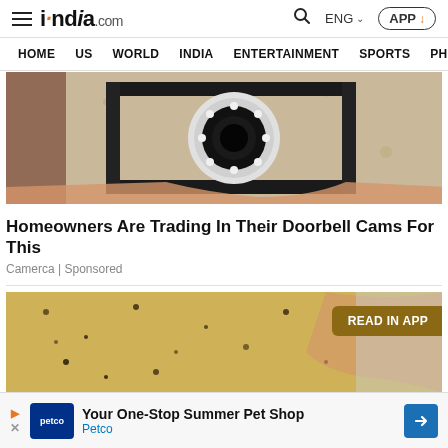india.com — HOME US WORLD INDIA ENTERTAINMENT SPORTS PHO
[Figure (photo): Close-up photo of a security camera mounted on a brick/stucco wall, white camera body with ring of LEDs, held in a metal bracket]
Homeowners Are Trading In Their Doorbell Cams For This
Camerca | Sponsored
[Figure (photo): Close-up photo of a hand holding a fish or similar object with speckled texture, partly cropped]
READ IN APP
Your One-Stop Summer Pet Shop Petco